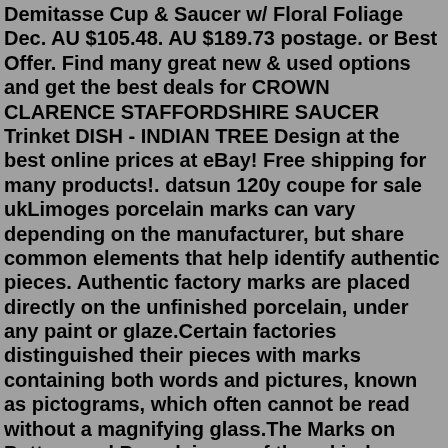Demitasse Cup & Saucer w/ Floral Foliage Dec. AU $105.48. AU $189.73 postage. or Best Offer. Find many great new & used options and get the best deals for CROWN CLARENCE STAFFORDSHIRE SAUCER Trinket DISH - INDIAN TREE Design at the best online prices at eBay! Free shipping for many products!. datsun 120y coupe for sale ukLimoges porcelain marks can vary depending on the manufacturer, but share common elements that help identify authentic pieces. Authentic factory marks are placed directly on the unfinished porcelain, under any paint or glaze.Certain factories distinguished their pieces with marks containing both words and pictures, known as pictograms, which often cannot be read without a magnifying glass.The Marks on Pottery and Porcelain are of three kinds—factory, workman, and pattern mark. Thefirst is usually placed in a prominent position, sometimes accompanied by the mark of the maker or decorator. Sévres Porcelain, for instance, often having four or five workmen's marks, besides that of the factory. The